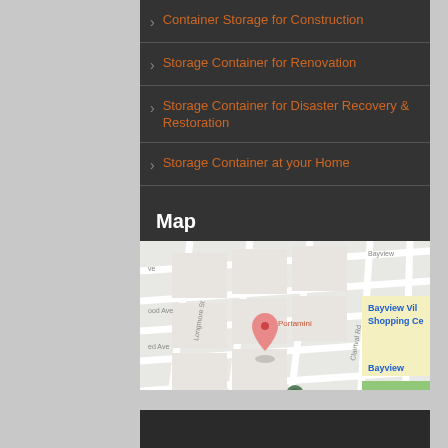Container Storage for Construction
Storage Container for Renovation
Storage Container for Disaster Recovery & Restoration
Storage Container at your Home
Map
[Figure (map): Google Maps street map showing Portamini location near Bayview Village Shopping Centre, with streets including Longmore St, Clairtval Rd, and The Peoples Church visible]